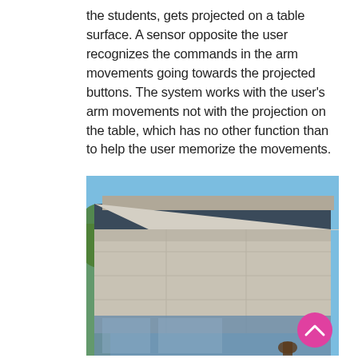the students, gets projected on a table surface. A sensor opposite the user recognizes the commands in the arm movements going towards the projected buttons. The system works with the user's arm movements not with the projection on the table, which has no other function than to help the user memorize the movements.
[Figure (photo): Exterior photograph of a modern building with a flat roof featuring a dark blue/grey fascia band, pale concrete or stone cladding panels below, and floor-to-ceiling glass at the base. Blue sky background with a tree partially visible on the left. A person is partially visible at the bottom right corner. A pink/magenta circular scroll-to-top button overlaps the bottom right of the image.]